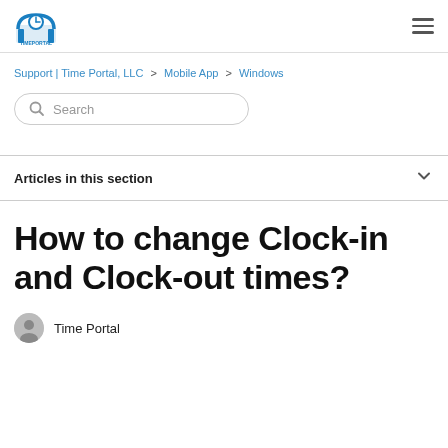Time Portal logo | hamburger menu
Support | Time Portal, LLC  >  Mobile App  >  Windows
Search
Articles in this section
How to change Clock-in and Clock-out times?
Time Portal